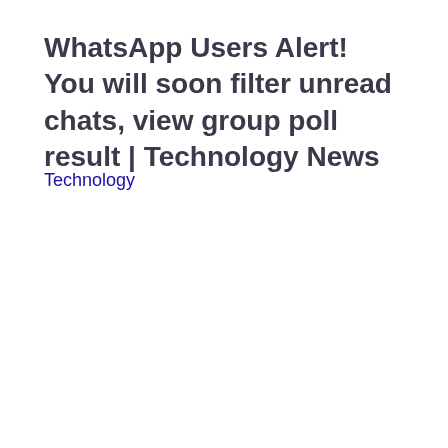WhatsApp Users Alert! You will soon filter unread chats, view group poll result | Technology News
Technology